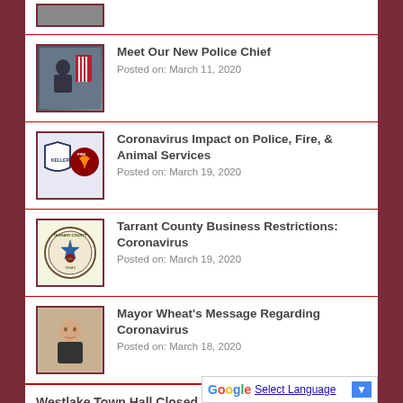[Figure (photo): Partial thumbnail of a person at top of page, cropped]
Meet Our New Police Chief
Posted on: March 11, 2020
Coronavirus Impact on Police, Fire, & Animal Services
Posted on: March 19, 2020
Tarrant County Business Restrictions: Coronavirus
Posted on: March 19, 2020
Mayor Wheat's Message Regarding Coronavirus
Posted on: March 18, 2020
Westlake Town Hall Closed until further notice; Staff Working Remotely
Posted on: March 16, 2020